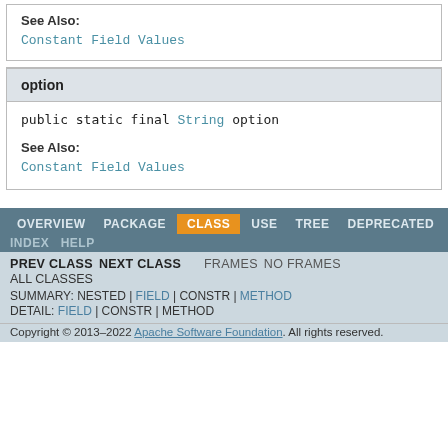See Also:
Constant Field Values
option
public static final String option
See Also:
Constant Field Values
OVERVIEW  PACKAGE  CLASS  USE  TREE  DEPRECATED  INDEX  HELP  PREV CLASS  NEXT CLASS  FRAMES  NO FRAMES  ALL CLASSES  SUMMARY: NESTED | FIELD | CONSTR | METHOD  DETAIL: FIELD | CONSTR | METHOD  Copyright © 2013-2022 Apache Software Foundation. All rights reserved.